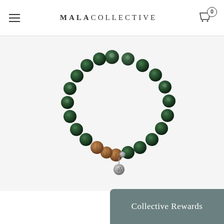MALACOLLECTIVE
[Figure (photo): A beaded bracelet made of dark green kambaba jasper stones with brown rudraksha beads and a small silver charm pendant, photographed on a white background.]
Collective Rewards